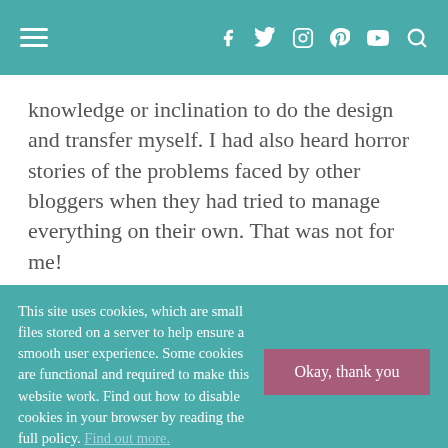Navigation bar with hamburger menu and social icons (f, twitter, instagram, pinterest, youtube, search)
knowledge or inclination to do the design and transfer myself. I had also heard horror stories of the problems faced by other bloggers when they had tried to manage everything on their own. That was not for me!
I spent a month searching through the web and looking for someone I could trust with my little project. Eventually,
This site uses cookies, which are small files stored on a server to help ensure a smooth user experience. Some cookies are functional and required to make this website work. Find out how to disable cookies in your browser by reading the full policy. Find out more.